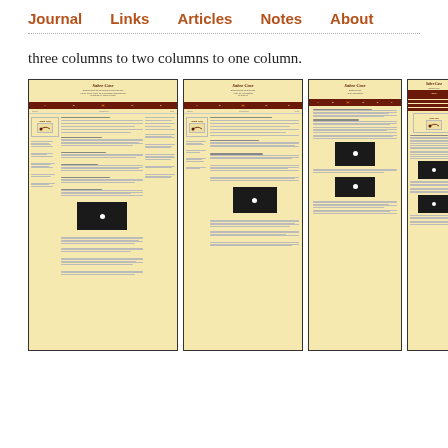Journal   Links   Articles   Notes   About
three columns to two columns to one column.
[Figure (screenshot): Four side-by-side screenshots of a website called 'Sabre Case' showing responsive layout transitions from three columns to two columns to one column. Each screenshot shows the site at different widths with a dark red navigation bar, beige/cream background, article text, sidebar, and embedded video thumbnails.]